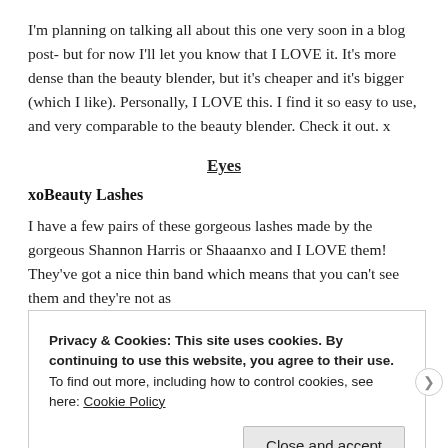I'm planning on talking all about this one very soon in a blog post- but for now I'll let you know that I LOVE it. It's more dense than the beauty blender, but it's cheaper and it's bigger (which I like). Personally, I LOVE this. I find it so easy to use, and very comparable to the beauty blender. Check it out. x
Eyes
xoBeauty Lashes
I have a few pairs of these gorgeous lashes made by the gorgeous Shannon Harris or Shaaanxo and I LOVE them! They've got a nice thin band which means that you can't see them and they're not as
Privacy & Cookies: This site uses cookies. By continuing to use this website, you agree to their use.
To find out more, including how to control cookies, see here: Cookie Policy
Close and accept